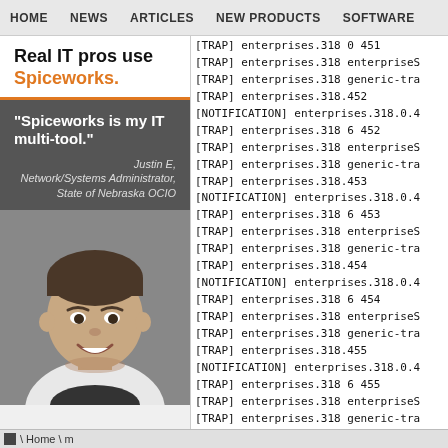HOME  NEWS  ARTICLES  NEW PRODUCTS  SOFTWARE
[Figure (illustration): Spiceworks advertisement: 'Real IT pros use Spiceworks.' with quote 'Spiceworks is my IT multi-tool.' attributed to Justin E, Network/Systems Administrator, State of Nebraska OCIO, with photo of a smiling man]
[TRAP] enterprises.318 0 451
[TRAP] enterprises.318 enterpriseS
[TRAP] enterprises.318 generic-tra
[TRAP] enterprises.318.452
[NOTIFICATION] enterprises.318.0.4
[TRAP] enterprises.318 6 452
[TRAP] enterprises.318 enterpriseS
[TRAP] enterprises.318 generic-tra
[TRAP] enterprises.318.453
[NOTIFICATION] enterprises.318.0.4
[TRAP] enterprises.318 6 453
[TRAP] enterprises.318 enterpriseS
[TRAP] enterprises.318 generic-tra
[TRAP] enterprises.318.454
[NOTIFICATION] enterprises.318.0.4
[TRAP] enterprises.318 6 454
[TRAP] enterprises.318 enterpriseS
[TRAP] enterprises.318 generic-tra
[TRAP] enterprises.318.455
[NOTIFICATION] enterprises.318.0.4
[TRAP] enterprises.318 6 455
[TRAP] enterprises.318 enterpriseS
[TRAP] enterprises.318 generic-tra
[TRAP] enterprises.318.456
[NOTIFICATION] enterprises.318.0.4
[TRAP] enterprises.318 6 456
\ Home \ m